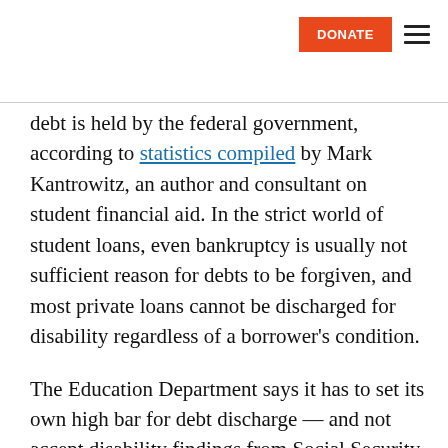DONATE [hamburger menu]
debt is held by the federal government, according to statistics compiled by Mark Kantrowitz, an author and consultant on student financial aid. In the strict world of student loans, even bankruptcy is usually not sufficient reason for debts to be forgiven, and most private loans cannot be discharged for disability regardless of a borrower's condition.
The Education Department says it has to set its own high bar for debt discharge — and not accept disability findings from Social Security — because of the tough standard set out for it by Congress.